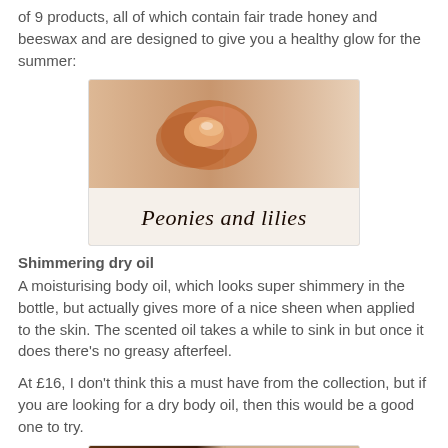of 9 products, all of which contain fair trade honey and beeswax and are designed to give you a healthy glow for the summer:
[Figure (photo): Photo of a honey/beeswax product blob on skin with the cursive text 'Peonies and lilies' overlaid at the bottom]
Shimmering dry oil
A moisturising body oil, which looks super shimmery in the bottle, but actually gives more of a nice sheen when applied to the skin. The scented oil takes a while to sink in but once it does there's no greasy afterfeel.
At £16, I don't think this a must have from the collection, but if you are looking for a dry body oil, then this would be a good one to try.
[Figure (photo): Bottom portion of another product photo, partially visible]